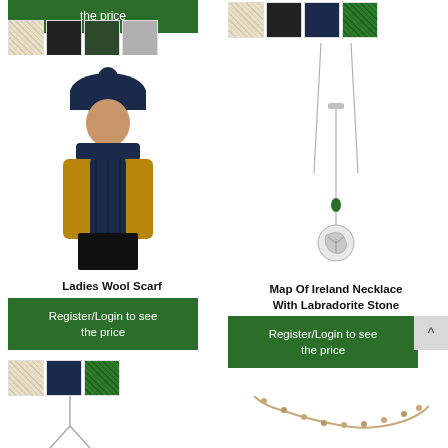[Figure (photo): Green button reading 'the price' (partial top of register/login button), color swatches (cream, black, dark green, gray), and a woman wearing a navy wool scarf and matching hat with pom-pom over a camel sweater]
Ladies Wool Scarf
[Figure (photo): Green 'Register/Login to see the price' button with color swatches (cream, navy, green) and a partial necklace image at the bottom]
[Figure (photo): Color swatches (cream, black, navy, green) and a necklace with a Map of Ireland pendant with Labradorite Stone]
Map Of Ireland Necklace With Labradorite Stone
[Figure (photo): Green 'Register/Login to see the price' button]
[Figure (photo): Partial view of a silver Y-necklace at the bottom of the page]
[Figure (photo): Partial view of a beaded/chain necklace at the bottom right of the page]